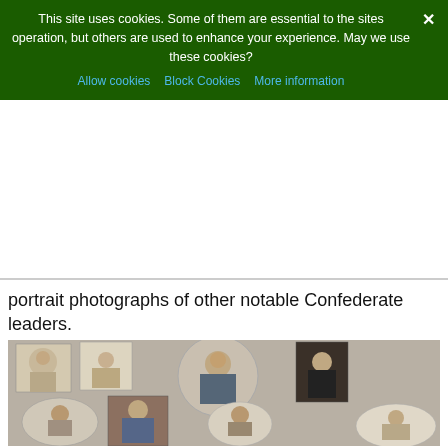This site uses cookies. Some of them are essential to the sites operation, but others are used to enhance your experience. May we use these cookies?
Allow cookies   Block Cookies   More information
portrait photographs of other notable Confederate leaders.
[Figure (photo): A collection of eight sepia-toned portrait photographs of Confederate leaders arranged on a white surface. Top row: four portraits of men in 19th century attire. Bottom row: four more oval and rectangular portrait photographs of similar figures.]